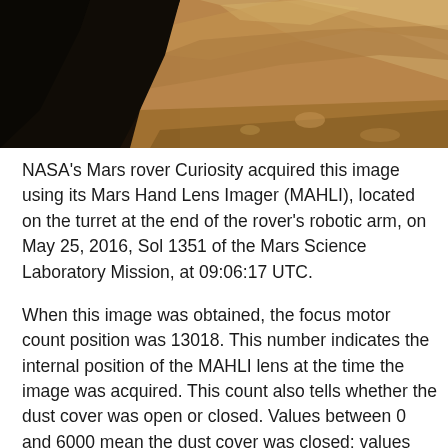[Figure (photo): Close-up photograph of Martian rock surface taken by NASA Curiosity rover's MAHLI camera, showing sandy/rocky terrain in warm brown and tan tones against a dark background.]
NASA's Mars rover Curiosity acquired this image using its Mars Hand Lens Imager (MAHLI), located on the turret at the end of the rover's robotic arm, on May 25, 2016, Sol 1351 of the Mars Science Laboratory Mission, at 09:06:17 UTC.
When this image was obtained, the focus motor count position was 13018. This number indicates the internal position of the MAHLI lens at the time the image was acquired. This count also tells whether the dust cover was open or closed. Values between 0 and 6000 mean the dust cover was closed; values between 12500 and 16000 occur when the cover is open. For close-up images, the motor count can in some cases be used to estimate the distance between the MAHLI lens and target. For example, in-focus images obtained with the dust cover open for which the lens